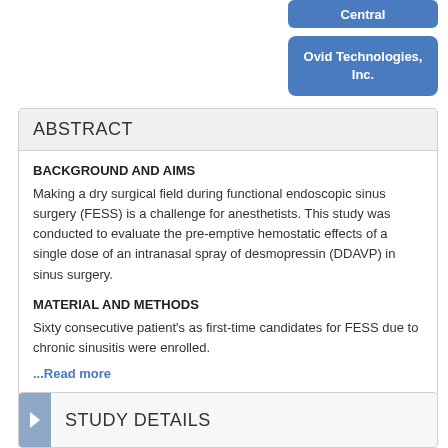[Figure (other): Partially visible blue rounded button labeled 'Central' at top right]
[Figure (other): Blue rounded button labeled 'Ovid Technologies, Inc.' at top right]
ABSTRACT
BACKGROUND AND AIMS
Making a dry surgical field during functional endoscopic sinus surgery (FESS) is a challenge for anesthetists. This study was conducted to evaluate the pre-emptive hemostatic effects of a single dose of an intranasal spray of desmopressin (DDAVP) in sinus surgery.
MATERIAL AND METHODS
Sixty consecutive patient's as first-time candidates for FESS due to chronic sinusitis were enrolled.
...Read more
STUDY DETAILS